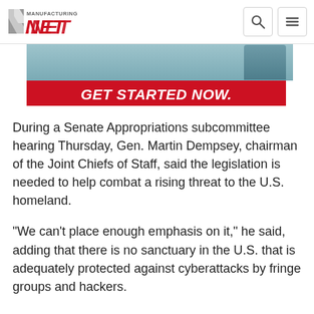Manufacturing.net
[Figure (screenshot): Advertisement banner with 'GET STARTED NOW.' text on red background]
During a Senate Appropriations subcommittee hearing Thursday, Gen. Martin Dempsey, chairman of the Joint Chiefs of Staff, said the legislation is needed to help combat a rising threat to the U.S. homeland.
"We can't place enough emphasis on it," he said, adding that there is no sanctuary in the U.S. that is adequately protected against cyberattacks by fringe groups and hackers.